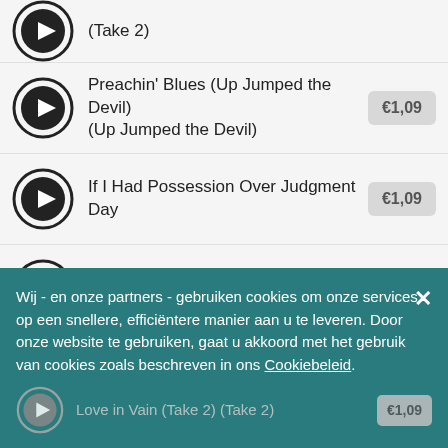(Take 2) — €1,09
Preachin' Blues (Up Jumped the Devil) (Up Jumped the Devil) — €1,09
If I Had Possession Over Judgment Day — €1,09
Stop Breakin' Down Blues (Take 2) (Take 2) — €1,09
Traveling Riverside Blues — €1,09
Honeymoon Blues — €1,09
Wij - en onze partners - gebruiken cookies om onze services op een snellere, efficiëntere manier aan u te leveren. Door onze website te gebruiken, gaat u akkoord met het gebruik van cookies zoals beschreven in ons Cookiebeleid.
Love in Vain (Take 2) (Take 2)